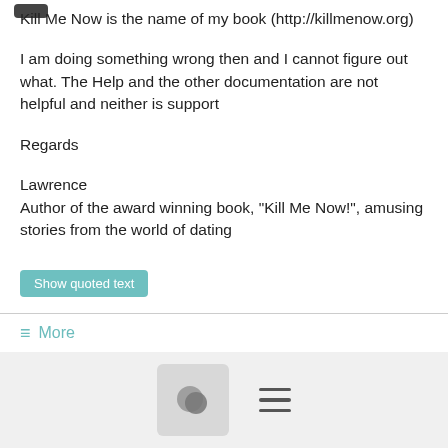Kill Me Now is the name of my book (http://killmenow.org)
I am doing something wrong then and I cannot figure out what. The Help and the other documentation are not helpful and neither is support
Regards
Lawrence
Author of the award winning book, "Kill Me Now!", amusing stories from the world of dating
Show quoted text
≡ More